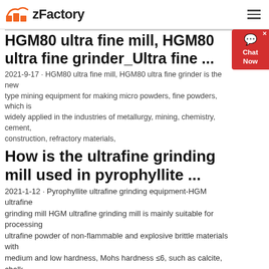zFactory
HGM80 ultra fine mill, HGM80 ultra fine grinder_Ultra fine ...
2021-9-17 · HGM80 ultra fine mill, HGM80 ultra fine grinder is the new type mining equipment for making micro powders, fine powders, widely applied in the industries of metallurgy, mining, chemistry, cement, construction, refractory materials,
How is the ultrafine grinding mill used in pyrophyllite ...
2021-1-12 · Pyrophyllite ultrafine grinding equipment-HGM ultrafine grinding mill HGM ultrafine grinding mill is mainly suitable for processing ultrafine powder of non-flammable and explosive brittle materials with medium and low hardness, Mohs hardness ≤6, such as calcite, chalk, limestone, dolomite, carbon black, kaolin, Bentonite, talc, mica, magnesite, illite, pyrophyllite, vermiculite, sepiolite ...
dolerite stone crushing plant...